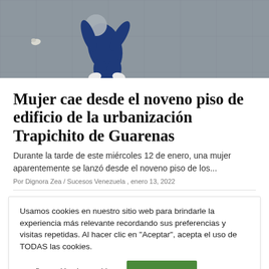[Figure (photo): Overhead view of a person lying on a grey pavement surface, wearing blue clothing and white shoes, seen from above.]
Mujer cae desde el noveno piso de edificio de la urbanización Trapichito de Guarenas
Durante la tarde de este miércoles 12 de enero, una mujer aparentemente se lanzó desde el noveno piso de los...
Por Dignora Zea / Sucesos Venezuela , enero 13, 2022
Usamos cookies en nuestro sitio web para brindarle la experiencia más relevante recordando sus preferencias y visitas repetidas. Al hacer clic en "Aceptar", acepta el uso de TODAS las cookies.
Configuración de Cookies
ACEPTO